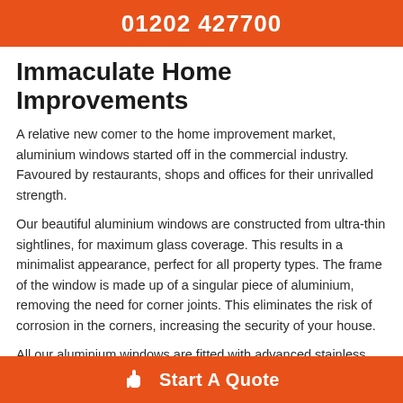01202 427700
Immaculate Home Improvements
A relative new comer to the home improvement market, aluminium windows started off in the commercial industry. Favoured by restaurants, shops and offices for their unrivalled strength.
Our beautiful aluminium windows are constructed from ultra-thin sightlines, for maximum glass coverage. This results in a minimalist appearance, perfect for all property types. The frame of the window is made up of a singular piece of aluminium, removing the need for corner joints. This eliminates the risk of corrosion in the corners, increasing the security of your house.
All our aluminium windows are fitted with advanced stainless steel locking systems, protected by the strengthened aluminium
Start A Quote